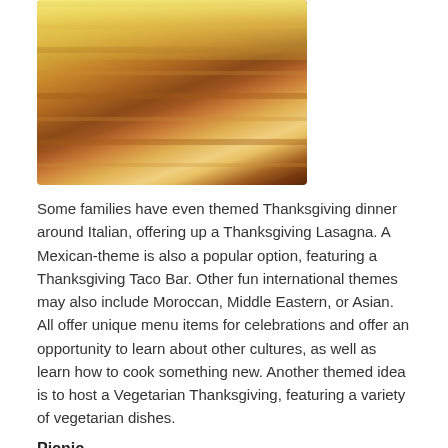[Figure (photo): Close-up photo of a slice of lasagna with layered pasta, meat sauce, and melted cheese on top, served on a white plate.]
Some families have even themed Thanksgiving dinner around Italian, offering up a Thanksgiving Lasagna. A Mexican-theme is also a popular option, featuring a Thanksgiving Taco Bar. Other fun international themes may also include Moroccan, Middle Eastern, or Asian. All offer unique menu items for celebrations and offer an opportunity to learn about other cultures, as well as learn how to cook something new. Another themed idea is to host a Vegetarian Thanksgiving, featuring a variety of vegetarian dishes.
Picnic
[Figure (photo): Outdoor picnic scene with trees and natural light.]